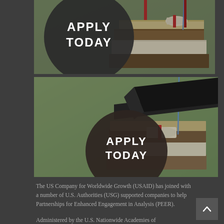[Figure (photo): Photo of stacked books with a graduation cap and diploma, with an 'APPLY TODAY' circular badge overlay on the left side]
[Figure (photo): Photo of stacked books with a graduation cap and diploma, with an 'APPLY TODAY' circular badge overlay on the lower left side]
The US Company for Worldwide Growth (USAID) has joined with a number of U.S. Authorities (USG) supported companies to help Partnerships for Enhanced Engagement in Analysis (PEER).
Administered by the U.S. Nationwide Academies of